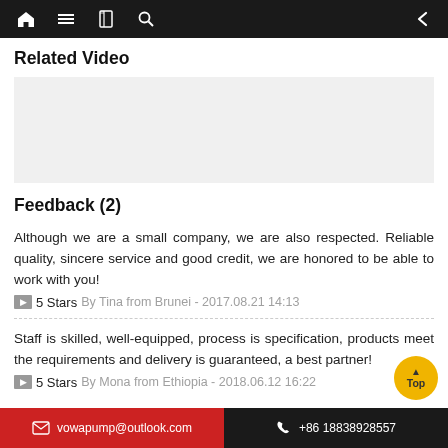Navigation bar with home, menu, book, search icons and back arrow
Related Video
[Figure (other): Empty video placeholder area]
Feedback (2)
Although we are a small company, we are also respected. Reliable quality, sincere service and good credit, we are honored to be able to work with you!
5 Stars  By Tina from Brunei - 2017.08.21 14:13
Staff is skilled, well-equipped, process is specification, products meet the requirements and delivery is guaranteed, a best partner!
5 Stars  By Mona from Ethiopia - 2018.06.12 16:22
vowapump@outlook.com   +86 18838928557